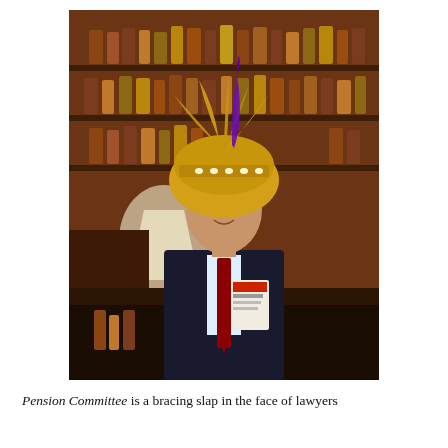[Figure (photo): A man wearing a dark suit with a red tie and a name badge stands in front of a bar with shelves of liquor bottles. He is wearing a large golden feathered headdress or novelty hat with a purple feather. He appears to be at some kind of event or party.]
Pension Committee is a bracing slap in the face of lawyers